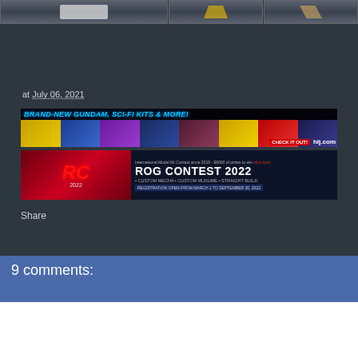[Figure (photo): Top strip showing partial product images (gunpla/model kits) in three panels against dark background]
at July 06, 2021
[Figure (photo): Banner advertisement for hlj.com: BRAND-NEW GUNDAM, SCI-FI KITS & MORE! CHECK IT OUT! hlj.com]
[Figure (photo): Banner advertisement for ROG Contest 2022: International Model Kit Contest since 2019 - $8000 of prizes to win. Custom Mecha, Custom Musume, Straight Build. Registration open from March 1 to September 30, 2022]
Share
9 comments: